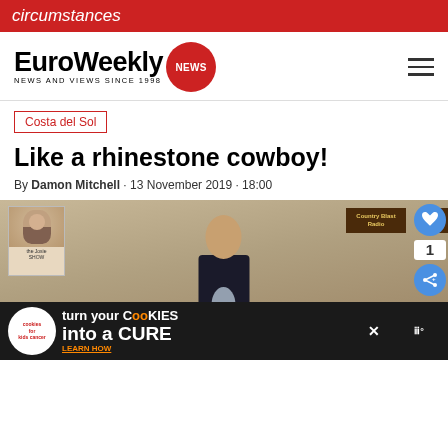circumstances
EuroWeekly NEWS — NEWS AND VIEWS SINCE 1998
Costa del Sol
Like a rhinestone cowboy!
By Damon Mitchell · 13 November 2019 · 18:00
[Figure (photo): Man in dark suit holding a glass award trophy, standing in front of event backdrop with 'Country Blast Radio' and other signage. Small promotional posters visible in foreground.]
[Figure (infographic): Advertisement banner: 'cookies for kids cancer — turn your COOKIES into a CURE LEARN HOW']